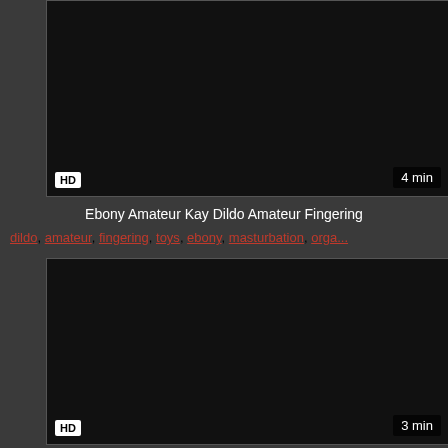[Figure (screenshot): Dark video thumbnail with HD badge at bottom-left and '4 min' duration badge at bottom-right]
Ebony Amateur Kay Dildo Amateur Fingering
dildo, amateur, fingering, toys, ebony, masturbation, orga...
[Figure (screenshot): Dark video thumbnail with HD badge at bottom-left and '3 min' duration badge at bottom-right]